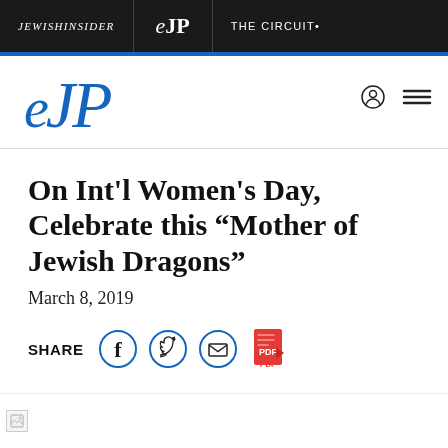JEWISHINSIDER | eJP | THE CIRCUIT•
[Figure (logo): eJP logo in blue serif italic font]
On Int'l Women's Day, Celebrate this “Mother of Jewish Dragons”
March 8, 2019
SHARE
[Figure (infographic): Broken/loading article image placeholder]